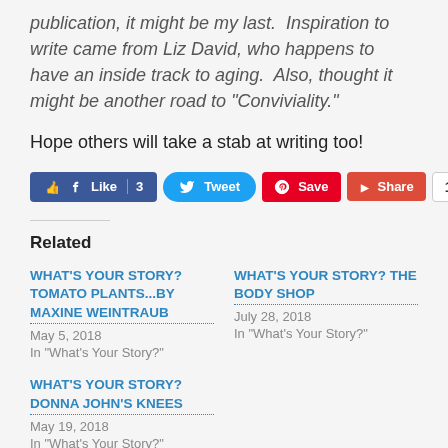publication, it might be my last.  Inspiration to write came from Liz David, who happens to have an inside track to aging.  Also, thought it might be another road to “Conviviality.”
Hope others will take a stab at writing too!
[Figure (screenshot): Social sharing buttons: Facebook Like 3, Twitter Tweet, Pinterest Save, Share, count 10]
Related
WHAT'S YOUR STORY? TOMATO PLANTS...by Maxine Weintraub
May 5, 2018
In "What's Your Story?"
WHAT'S YOUR STORY? THE BODY SHOP
July 28, 2018
In "What's Your Story?"
WHAT'S YOUR STORY? DONNA JOHN'S KNEES
May 19, 2018
In "What's Your Story?"